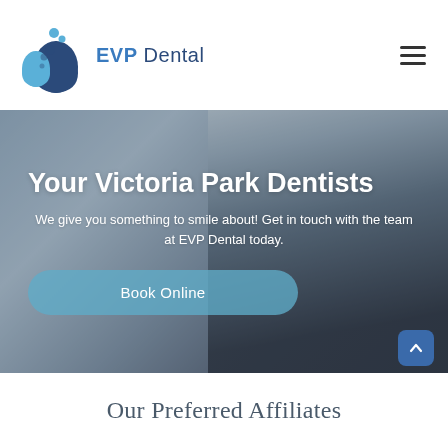[Figure (logo): EVP Dental logo with blue tooth/person icon and text 'EVP Dental']
[Figure (photo): Hero banner showing a smiling female dental receptionist holding a phone, with overlay text and a Book Online button]
Your Victoria Park Dentists
We give you something to smile about! Get in touch with the team at EVP Dental today.
Book Online
Our Preferred Affiliates